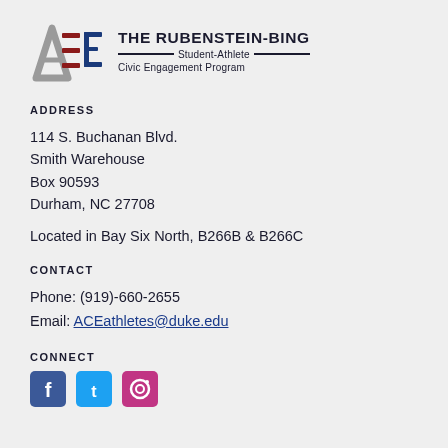[Figure (logo): ACE — The Rubenstein-Bing Student-Athlete Civic Engagement Program logo with stylized ACE letters in gray, red, and blue, and program name text]
ADDRESS
114 S. Buchanan Blvd.
Smith Warehouse
Box 90593
Durham, NC 27708
Located in Bay Six North, B266B & B266C
CONTACT
Phone: (919)-660-2655
Email: ACEathletes@duke.edu
CONNECT
[Figure (other): Social media icons row (partially visible at bottom)]